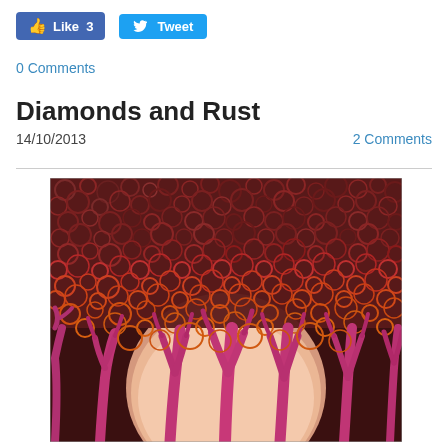[Figure (other): Facebook Like button showing 'Like 3' and Twitter Tweet button]
0 Comments
Diamonds and Rust
14/10/2013
2 Comments
[Figure (photo): Painting of stylized trees with circular textured foliage in dark red and brown tones, with a large pale pink/orange moon or sun in the background. Tree trunks are magenta/deep pink.]